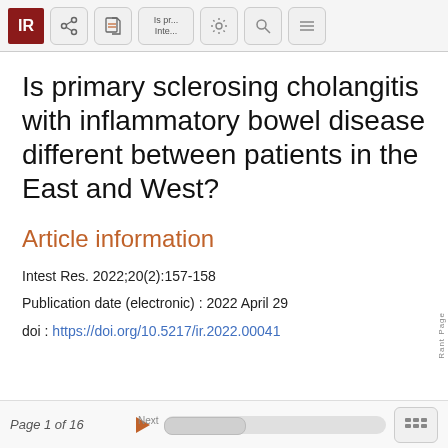[Figure (screenshot): Application toolbar with IR logo, share, PDF, title text 'Is pr... Inte...', settings, search, and menu icons]
Is primary sclerosing cholangitis with inflammatory bowel disease different between patients in the East and West?
Article information
Intest Res. 2022;20(2):157-158
Publication date (electronic) : 2022 April 29
doi : https://doi.org/10.5217/ir.2022.00041
Page 1 of 16